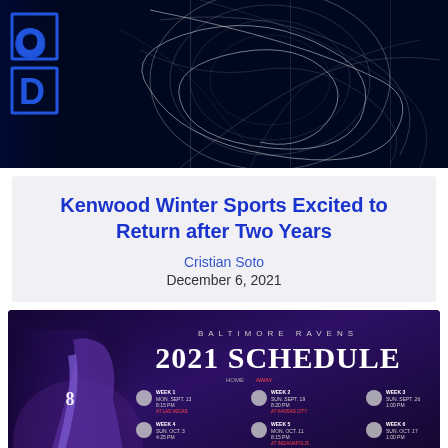[Figure (photo): Dark stylized sports image with glowing blue letters O and D on left side against a dark background with white swirl/web-like graphic design elements]
Kenwood Winter Sports Excited to Return after Two Years
Cristian Soto
December 6, 2021
[Figure (photo): Baltimore Ravens 2021 Schedule graphic showing player in purple uniform running with football, with schedule grid showing weeks 1-12 of the 2021 NFL season on purple/dark background]